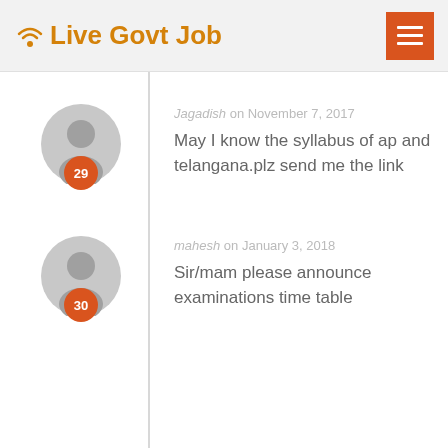Live Govt Job
Jagadish on November 7, 2017
May I know the syllabus of ap and telangana.plz send me the link
mahesh on January 3, 2018
Sir/mam please announce examinations time table